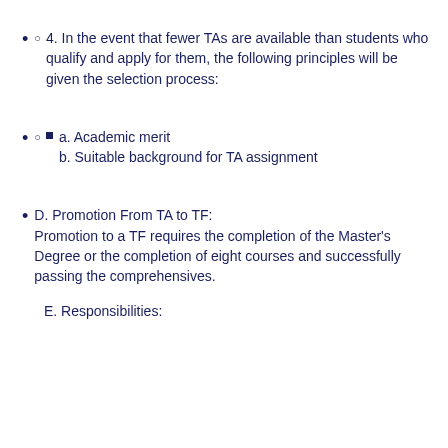4. In the event that fewer TAs are available than students who qualify and apply for them, the following principles will be given the selection process:
a. Academic merit
b. Suitable background for TA assignment
D. Promotion From TA to TF:
Promotion to a TF requires the completion of the Master's Degree or the completion of eight courses and successfully passing the comprehensives.
E. Responsibilities: